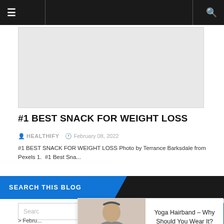≡  Q
[Figure (photo): Article header image placeholder (light gray rectangle)]
#1 BEST SNACK FOR WEIGHT LOSS
♿ HEALTHIFY  🕐 February 08, 2022
#1 BEST SNACK FOR WEIGHT LOSS Photo by Terrance Barksdale from Pexels 1.  #1 Best Sna...
SEARCH THIS BLOG
Search...
[Figure (photo): Photo of a woman wearing a yoga hairband, smiling, in a gray top]
ads by ForeMedia
Yoga Hairband &#8211; Why Should You Wear It?
> Febru...
> Janua...
3
13